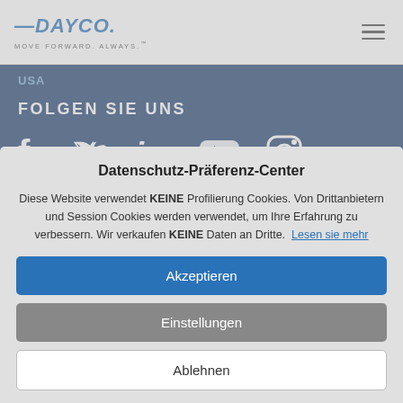[Figure (logo): Dayco logo with text 'MOVE FORWARD. ALWAYS.' and hamburger menu icon]
USA
FOLGEN SIE UNS
[Figure (infographic): Social media icons: Facebook, Twitter, LinkedIn, YouTube, Instagram]
Datenschutz-Präferenz-Center
Diese Website verwendet KEINE Profilierung Cookies. Von Drittanbietern und Session Cookies werden verwendet, um Ihre Erfahrung zu verbessern. Wir verkaufen KEINE Daten an Dritte. Lesen sie mehr
Akzeptieren
Einstellungen
Ablehnen